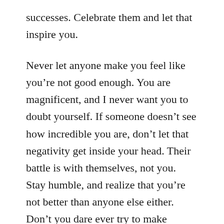successes. Celebrate them and let that inspire you.
Never let anyone make you feel like you’re not good enough. You are magnificent, and I never want you to doubt yourself. If someone doesn’t see how incredible you are, don’t let that negativity get inside your head. Their battle is with themselves, not you. Stay humble, and realize that you’re not better than anyone else either. Don’t you dare ever try to make someone else feel small. Just keep trying to be a better version of yourself, every day.
Life is unpredictable. Things aren’t always going to go your way. I need you to know that it’s okay to start all over, just don’t ever give up. You can always come home if you need to. I’ll be there to give you all the love